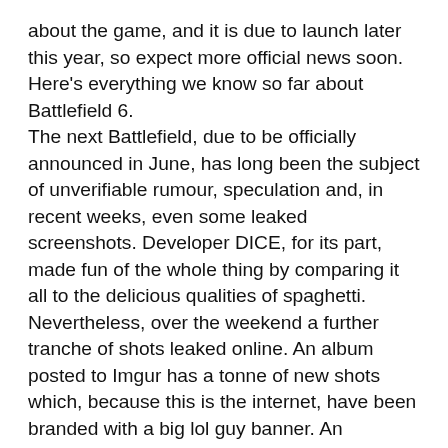about the game, and it is due to launch later this year, so expect more official news soon. Here's everything we know so far about Battlefield 6. The next Battlefield, due to be officially announced in June, has long been the subject of unverifiable rumour, speculation and, in recent weeks, even some leaked screenshots. Developer DICE, for its part, made fun of the whole thing by comparing it all to the delicious qualities of spaghetti. Nevertheless, over the weekend a further tranche of shots leaked online. An album posted to Imgur has a tonne of new shots which, because this is the internet, have been branded with a big lol guy banner. An enterprising redditor has stitched them together into some sort of order. Gunships, rockets, big bangs, it's all what you'd expect and of-a-piece with the longstanding rumour that the game has a near-future setting. What confuses me most is that the game just seems to be called